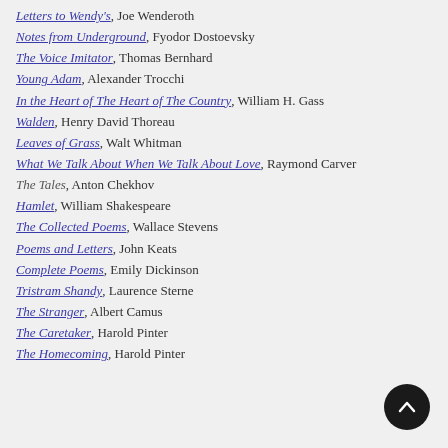Letters to Wendy's, Joe Wenderoth
Notes from Underground, Fyodor Dostoevsky
The Voice Imitator, Thomas Bernhard
Young Adam, Alexander Trocchi
In the Heart of The Heart of The Country, William H. Gass
Walden, Henry David Thoreau
Leaves of Grass, Walt Whitman
What We Talk About When We Talk About Love, Raymond Carver
The Tales, Anton Chekhov
Hamlet, William Shakespeare
The Collected Poems, Wallace Stevens
Poems and Letters, John Keats
Complete Poems, Emily Dickinson
Tristram Shandy, Laurence Sterne
The Stranger, Albert Camus
The Caretaker, Harold Pinter
The Homecoming, Harold Pinter